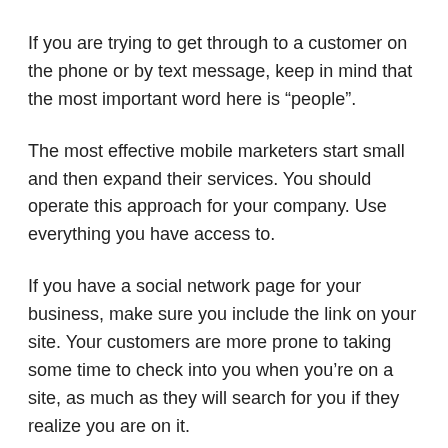If you are trying to get through to a customer on the phone or by text message, keep in mind that the most important word here is “people”.
The most effective mobile marketers start small and then expand their services. You should operate this approach for your company. Use everything you have access to.
If you have a social network page for your business, make sure you include the link on your site. Your customers are more prone to taking some time to check into you when you’re on a site, as much as they will search for you if they realize you are on it.
Keep in mind that it is tough to view and navigate a cell phone or other mobile device.
A/B testing is a mobile landing pages. You can progress